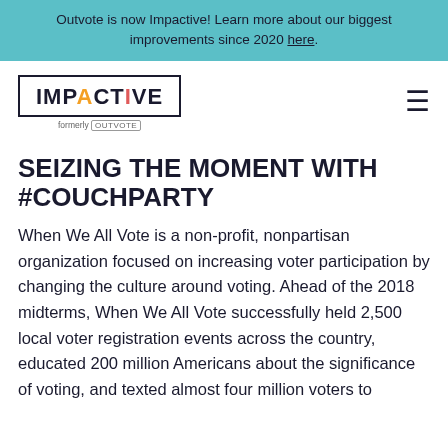Outvote is now Impactive! Learn more about our biggest improvements since 2020 here.
[Figure (logo): Impactive logo (formerly Outvote) in a rectangular border, with hamburger menu icon on right]
SEIZING THE MOMENT WITH #COUCHPARTY
When We All Vote is a non-profit, nonpartisan organization focused on increasing voter participation by changing the culture around voting. Ahead of the 2018 midterms, When We All Vote successfully held 2,500 local voter registration events across the country, educated 200 million Americans about the significance of voting, and texted almost four million voters to